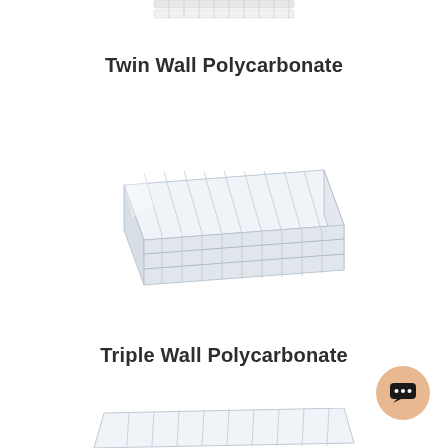[Figure (photo): Partial top view of a twin wall polycarbonate sheet panel, cropped at top]
Twin Wall Polycarbonate
[Figure (photo): Triple wall polycarbonate sheet panel shown in perspective/isometric view, clear transparent panel with vertical channels/ribs visible]
Triple Wall Polycarbonate
[Figure (photo): Partial top view of a polycarbonate sheet, cropped at bottom of page]
[Figure (illustration): Chat bubble / customer support widget button — peach/tan circular button with speech bubble dots icon]